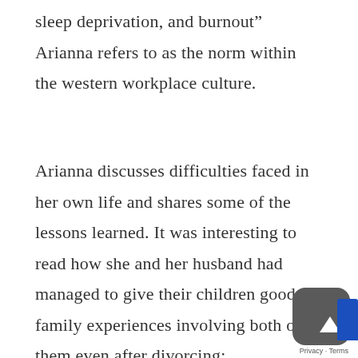sleep deprivation, and burnout” Arianna refers to as the norm within the western workplace culture.
Arianna discusses difficulties faced in her own life and shares some of the lessons learned. It was interesting to read how she and her husband had managed to give their children good family experiences involving both of them even after divorcing: